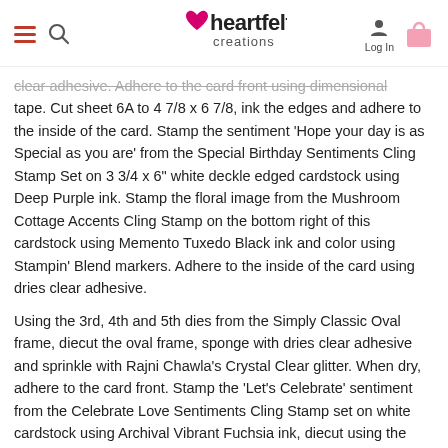Heartfelt Creations — navigation header with hamburger menu, search, logo, Log In, and bag icons
clear adhesive. Adhere to the card front using dimensional tape. Cut sheet 6A to 4 7/8 x 6 7/8, ink the edges and adhere to the inside of the card. Stamp the sentiment 'Hope your day is as Special as you are' from the Special Birthday Sentiments Cling Stamp Set on 3 3/4 x 6" white deckle edged cardstock using Deep Purple ink. Stamp the floral image from the Mushroom Cottage Accents Cling Stamp on the bottom right of this cardstock using Memento Tuxedo Black ink and color using Stampin' Blend markers. Adhere to the inside of the card using dries clear adhesive.
Using the 3rd, 4th and 5th dies from the Simply Classic Oval frame, diecut the oval frame, sponge with dries clear adhesive and sprinkle with Rajni Chawla's Crystal Clear glitter. When dry, adhere to the card front. Stamp the 'Let's Celebrate' sentiment from the Celebrate Love Sentiments Cling Stamp set on white cardstock using Archival Vibrant Fuchsia ink, diecut using the eyelet die from the Ticket and Tags Die set, sponge with dries clear adhesive and sprinkle with Rajni Chawla's Crystal Clear glitter. When dry, lightly shape adhere